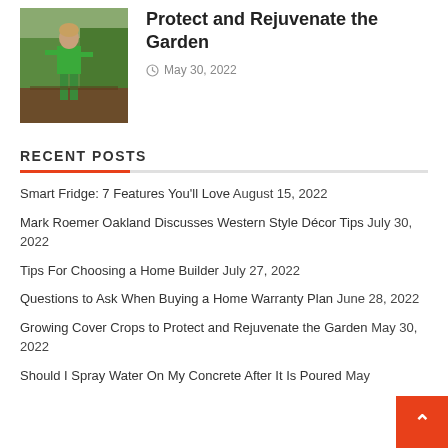[Figure (photo): Child in green outfit walking in a garden]
Protect and Rejuvenate the Garden
May 30, 2022
RECENT POSTS
Smart Fridge: 7 Features You'll Love August 15, 2022
Mark Roemer Oakland Discusses Western Style Décor Tips July 30, 2022
Tips For Choosing a Home Builder July 27, 2022
Questions to Ask When Buying a Home Warranty Plan June 28, 2022
Growing Cover Crops to Protect and Rejuvenate the Garden May 30, 2022
Should I Spray Water On My Concrete After It Is Poured May